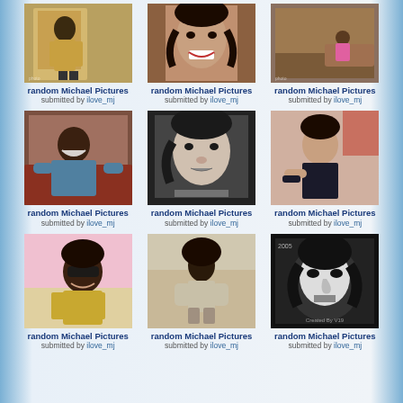[Figure (photo): Michael Jackson in yellow suit]
random Michael Pictures
submitted by ilove_mj
[Figure (photo): Michael Jackson portrait with curly hair]
random Michael Pictures
submitted by ilove_mj
[Figure (photo): Michael Jackson in room with pink top]
random Michael Pictures
submitted by ilove_mj
[Figure (photo): Michael Jackson laughing in blue sweater]
random Michael Pictures
submitted by ilove_mj
[Figure (photo): Michael Jackson black and white portrait]
random Michael Pictures
submitted by ilove_mj
[Figure (photo): Michael Jackson in black outfit]
random Michael Pictures
submitted by ilove_mj
[Figure (photo): Michael Jackson with sunglasses and military-style jacket]
random Michael Pictures
submitted by ilove_mj
[Figure (photo): Michael Jackson seated in casual outfit]
random Michael Pictures
submitted by ilove_mj
[Figure (photo): Black and white artistic portrait with Created By V19 text]
random Michael Pictures
submitted by ilove_mj